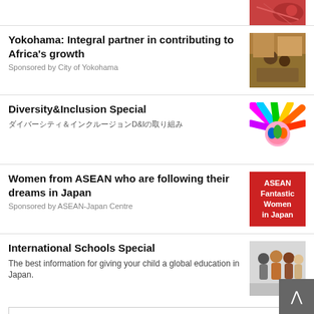[Figure (photo): Partial image at top right, cropped red/mosquito photo]
Yokohama: Integral partner in contributing to Africa's growth
Sponsored by City of Yokohama
[Figure (photo): People working in field, Africa related photo]
Diversity&Inclusion Special
ダイバーシティ＆インクルージョンD&Iの取り組み
[Figure (illustration): Colorful hands illustration for Diversity and Inclusion]
Women from ASEAN who are following their dreams in Japan
Sponsored by ASEAN-Japan Centre
[Figure (logo): Red background logo: ASEAN Fantastic Women in Japan]
International Schools Special
The best information for giving your child a global education in Japan.
[Figure (photo): Group of diverse school children]
Read more >